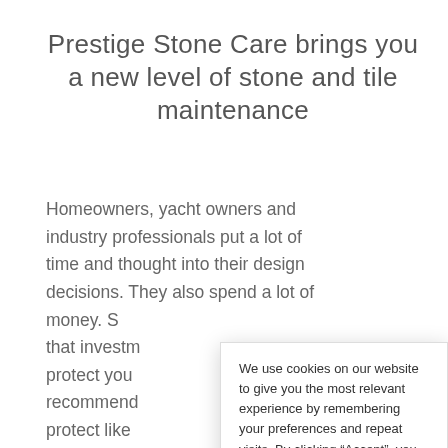Prestige Stone Care brings you a new level of stone and tile maintenance
Homeowners, yacht owners and industry professionals put a lot of time and thought into their design decisions. They also spend a lot of money. S[...] that investm[...] protect you[...] recommend[...] protect like [...] beautifying [...] better, we ca[...] a cutting edge care system designed so the[...]
We use cookies on our website to give you the most relevant experience by remembering your preferences and repeat visits. By clicking “Accept”, you consent to the use of ALL the cookies.
Cookie settings | ACCEPT